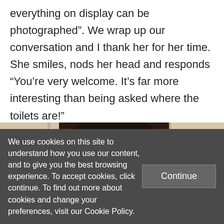everything on display can be photographed". We wrap up our conversation and I thank her for her time. She smiles, nods her head and responds “You’re very welcome. It’s far more interesting than being asked where the toilets are!”
[Figure (photo): Interior museum or gallery scene with a dark silhouetted figure in the foreground, display cases and visitors in the background]
We use cookies on this site to understand how you use our content, and to give you the best browsing experience. To accept cookies, click continue. To find out more about cookies and change your preferences, visit our Cookie Policy.